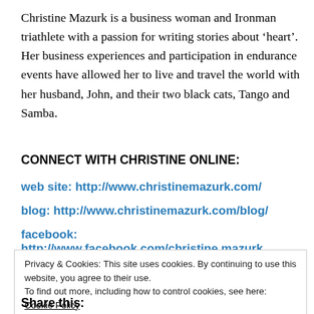Christine Mazurk is a business woman and Ironman triathlete with a passion for writing stories about ‘heart’. Her business experiences and participation in endurance events have allowed her to live and travel the world with her husband, John, and their two black cats, Tango and Samba.
CONNECT WITH CHRISTINE ONLINE:
web site: http://www.christinemazurk.com/
blog: http://www.christinemazurk.com/blog/
facebook: http://www.facebook.com/christine.mazurk
Privacy & Cookies: This site uses cookies. By continuing to use this website, you agree to their use.
To find out more, including how to control cookies, see here: Cookie Policy
Close and accept
Share this: